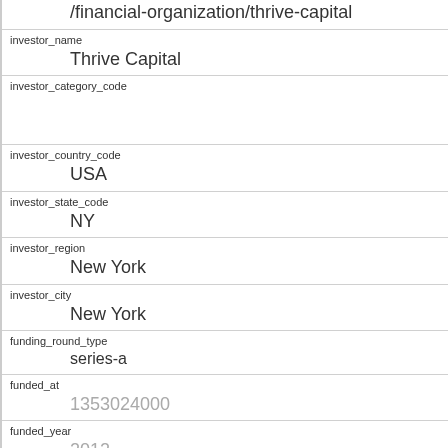/financial-organization/thrive-capital
investor_name
Thrive Capital
investor_category_code
investor_country_code
USA
investor_state_code
NY
investor_region
New York
investor_city
New York
funding_round_type
series-a
funded_at
1353024000
funded_year
2012
raised_amount_usd